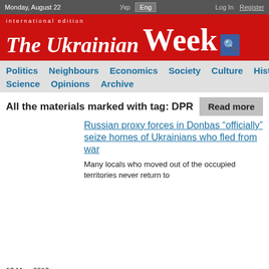Monday, August 22 | Укр  Eng | Log In  Register
international edition
The Ukrainian Week
Politics  Neighbours  Economics  Society  Culture  History  Science  Opinions  Archive
All the materials marked with tag: DPR
13 May, 2019  Breaking news
Russian proxy forces in Donbas "officially" seize homes of Ukrainians who fled from war
Many locals who moved out of the occupied territories never return to